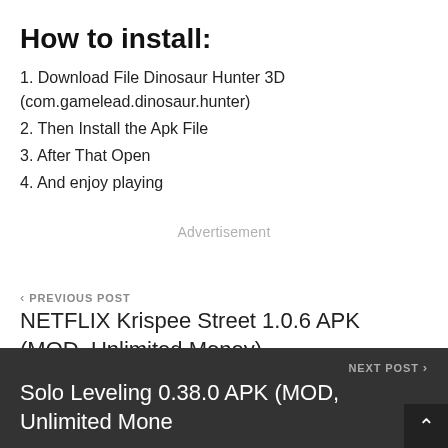How to install:
1. Download File Dinosaur Hunter 3D (com.gamelead.dinosaur.hunter)
2. Then Install the Apk File
3. After That Open
4. And enjoy playing
Advertisement
< PREVIOUS POST
NETFLIX Krispee Street 1.0.6 APK (MOD, Unlimited Money)
NEXT POST >
Solo Leveling 0.38.0 APK (MOD, Unlimited Money)